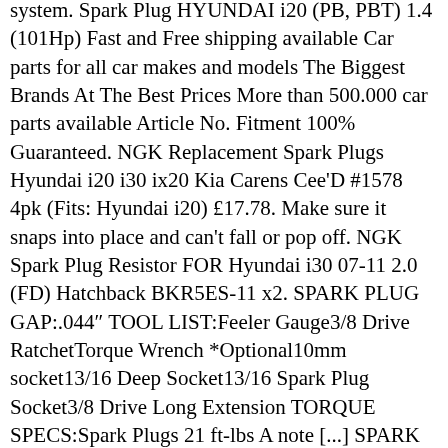system. Spark Plug HYUNDAI i20 (PB, PBT) 1.4 (101Hp) Fast and Free shipping available Car parts for all car makes and models The Biggest Brands At The Best Prices More than 500.000 car parts available Article No. Fitment 100% Guaranteed. NGK Replacement Spark Plugs Hyundai i20 i30 ix20 Kia Carens Cee'D #1578 4pk (Fits: Hyundai i20) £17.78. Make sure it snaps into place and can't fall or pop off. NGK Spark Plug Resistor FOR Hyundai i30 07-11 2.0 (FD) Hatchback BKR5ES-11 x2. SPARK PLUG GAP:.044″ TOOL LIST:Feeler Gauge3/8 Drive RatchetTorque Wrench *Optional10mm socket13/16 Deep Socket13/16 Spark Plug Socket3/8 Drive Long Extension TORQUE SPECS:Spark Plugs 21 ft-lbs A note [...] SPARK PLUG PARTS INFORMATION DESCRIPTION: This bulletin provides the applicable NGK and Champion Spark Plug part numbers for